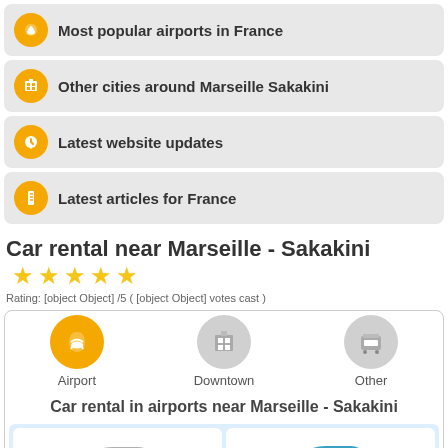Most popular airports in France
Other cities around Marseille Sakakini
Latest website updates
Latest articles for France
Car rental near Marseille - Sakakini
Rating: [object Object] /5 ( [object Object] votes cast )
[Figure (infographic): Tab bar with Airport (active, yellow), Downtown (inactive, gray), Other (inactive, gray) icons]
Car rental in airports near Marseille - Sakakini
[Figure (photo): Two car images side by side - silver small car on left, blue small car on right]